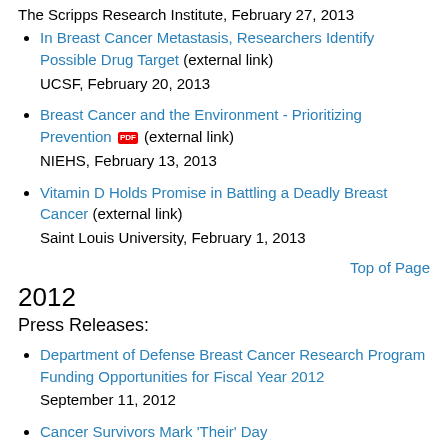The Scripps Research Institute, February 27, 2013
In Breast Cancer Metastasis, Researchers Identify Possible Drug Target (external link)
UCSF, February 20, 2013
Breast Cancer and the Environment - Prioritizing Prevention [PDF] (external link)
NIEHS, February 13, 2013
Vitamin D Holds Promise in Battling a Deadly Breast Cancer (external link)
Saint Louis University, February 1, 2013
Top of Page
2012
Press Releases:
Department of Defense Breast Cancer Research Program Funding Opportunities for Fiscal Year 2012
September 11, 2012
Cancer Survivors Mark 'Their' Day
May 31, 2012
Department of Defense Breast Cancer Research Program